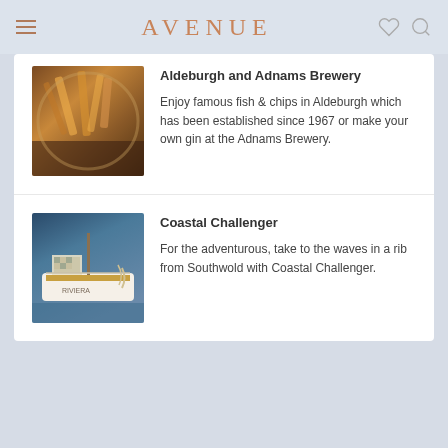AVENUE
Aldeburgh and Adnams Brewery
Enjoy famous fish & chips in Aldeburgh which has been established since 1967 or make your own gin at the Adnams Brewery.
[Figure (photo): Close-up photo of fish and chips in a takeaway container]
Coastal Challenger
For the adventurous, take to the waves in a rib from Southwold with Coastal Challenger.
[Figure (photo): Photo of a wooden boat with rope and deck fittings at a harbour]